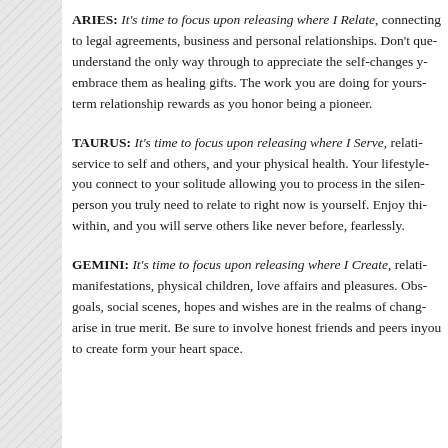ARIES: It's time to focus upon releasing where I Relate, connecting to legal agreements, business and personal relationships. Don't que... understand the only way through to appreciate the self-changes y... embrace them as healing gifts. The work you are doing for yours... term relationship rewards as you honor being a pioneer.
TAURUS: It's time to focus upon releasing where I Serve, relati... service to self and others, and your physical health. Your lifestyle... you connect to your solitude allowing you to process in the silen... person you truly need to relate to right now is yourself. Enjoy thi... within, and you will serve others like never before, fearlessly.
GEMINI: It's time to focus upon releasing where I Create, relati... manifestations, physical children, love affairs and pleasures. Obs... goals, social scenes, hopes and wishes are in the realms of chang... arise in true merit. Be sure to involve honest friends and peers in... you to create form your heart space.